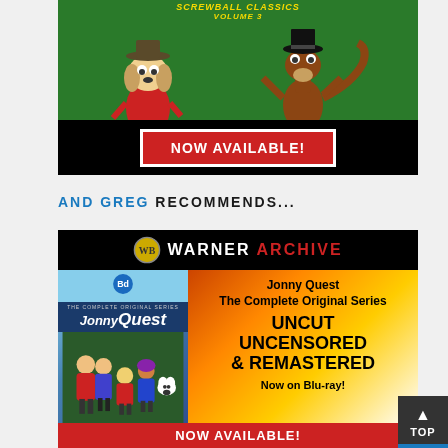[Figure (illustration): Advertisement banner for a cartoon DVD/Blu-ray collection with green background, cartoon dog characters, and 'NOW AVAILABLE!' button on black bar]
AND GREG RECOMMENDS...
[Figure (illustration): Warner Archive advertisement for Jonny Quest: The Complete Original Series on Blu-ray, UNCUT UNCENSORED & REMASTERED, Now on Blu-ray!, with NOW AVAILABLE! red button at bottom]
[Figure (illustration): TOP navigation button in bottom right corner]